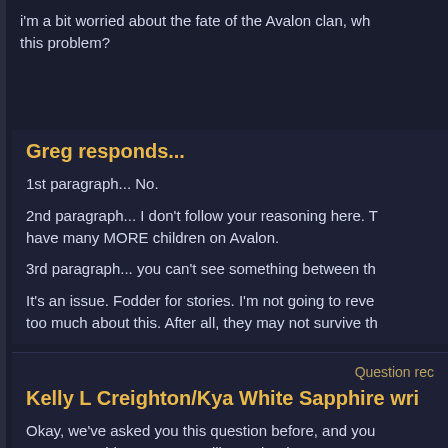i'm a bit worried about the fate of the Avalon clan, wh... this problem?
Greg responds...
1st paragraph... No.
2nd paragraph... I don't follow your reasoning here. T... have many MORE children on Avalon.
3rd paragraph... you can't see something between th...
It's an issue. Fodder for stories. I'm not going to reve... too much about this. After all, they may not survive th...
Question rec...
Kelly L Creighton/Kya White Sapphire wri...
Okay, we've asked you this question before, and you... answer. Nothing says you will now, but here goes:
1) What happens to the stone sleep cycle of gargs in...